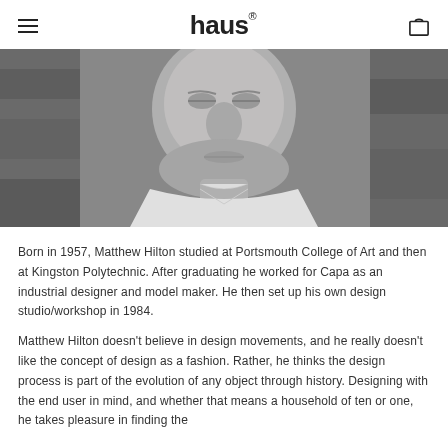haus®
[Figure (photo): Black and white close-up portrait photograph of Matthew Hilton, showing his face and upper torso wearing a white shirt, against a stone wall background.]
Born in 1957, Matthew Hilton studied at Portsmouth College of Art and then at Kingston Polytechnic. After graduating he worked for Capa as an industrial designer and model maker. He then set up his own design studio/workshop in 1984.
Matthew Hilton doesn't believe in design movements, and he really doesn't like the concept of design as a fashion. Rather, he thinks the design process is part of the evolution of any object through history. Designing with the end user in mind, and whether that means a household of ten or one, he takes pleasure in finding the